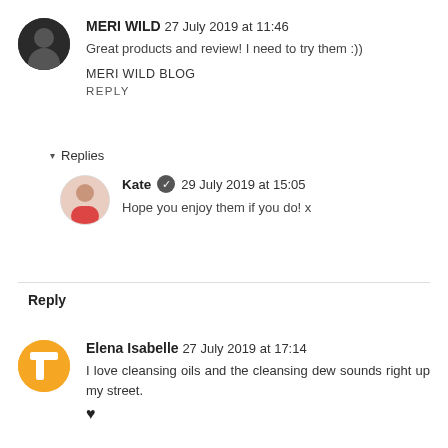MERI WILD 27 July 2019 at 11:46
Great products and review! I need to try them :))
MERI WILD BLOG
REPLY
▾ Replies
Kate ✓ 29 July 2019 at 15:05
Hope you enjoy them if you do! x
Reply
Elena Isabelle 27 July 2019 at 17:14
I love cleansing oils and the cleansing dew sounds right up my street.
♥